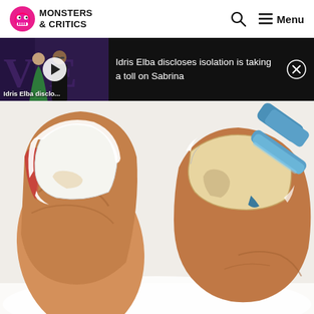MONSTERS & CRITICS
[Figure (screenshot): Video thumbnail showing two people (woman in green dress and man) standing in front of a purple backdrop. A white play button circle is overlaid in center. Text at bottom reads 'Idris Elba disclo...']
Idris Elba discloses isolation is taking a toll on Sabrina
[Figure (illustration): Close-up illustration/photo of two big toes with thick toenails. Left toe has white cream applied around the nail edge. Right toe has a blue tool/instrument applying treatment near the nail. Background is white fluffy texture.]